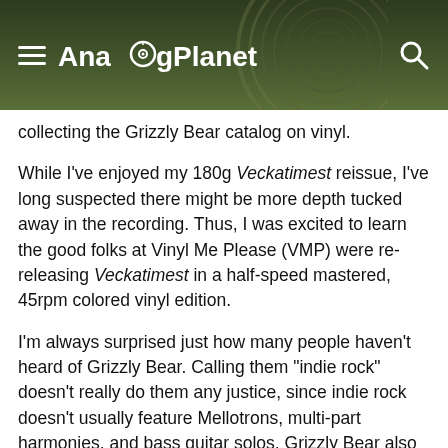AnalogPlanet
collecting the Grizzly Bear catalog on vinyl.
While I’ve enjoyed my 180g Veckatimest reissue, I’ve long suspected there might be more depth tucked away in the recording. Thus, I was excited to learn the good folks at Vinyl Me Please (VMP) were re-releasing Veckatimest in a half-speed mastered, 45rpm colored vinyl edition.
I’m always surprised just how many people haven’t heard of Grizzly Bear. Calling them “indie rock” doesn’t really do them any justice, since indie rock doesn’t usually feature Mellotrons, multi-part harmonies, and bass guitar solos. Grizzly Bear also isn’t afraid to break out rich nylon-string acoustic